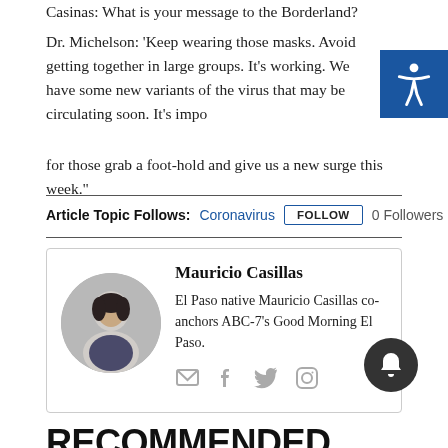Casinas: What is your message to the Borderland?
Dr. Michelson: 'Keep wearing those masks. Avoid getting together in large groups. It's working. We have some new variants of the virus that may be circulating soon. It's impo... for those grab a foot-hold and give us a new surge this week."
Article Topic Follows: Coronavirus FOLLOW 0 Followers
Mauricio Casillas
El Paso native Mauricio Casillas co-anchors ABC-7's Good Morning El Paso.
RECOMMENDED